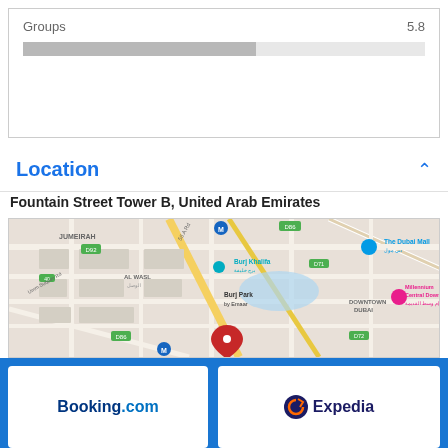Groups    5.8
Location
Fountain Street Tower B, United Arab Emirates
[Figure (map): Google Maps view of Downtown Dubai area showing Burj Khalifa, The Dubai Mall, Burj Park by Emaar, Millennium Central Downtown, JUMEIRAH, AL WASL, DOWNTOWN DUBAI districts with a red location pin marker]
[Figure (logo): Booking.com logo]
[Figure (logo): Expedia logo]
[Figure (logo): KAYAK logo]
[Figure (logo): Hotels.com logo]